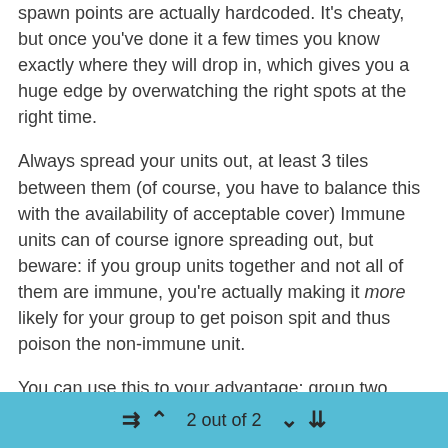spawn points are actually hardcoded. It's cheaty, but once you've done it a few times you know exactly where they will drop in, which gives you a huge edge by overwatching the right spots at the right time.
Always spread your units out, at least 3 tiles between them (of course, you have to balance this with the availability of acceptable cover) Immune units can of course ignore spreading out, but beware: if you group units together and not all of them are immune, you're actually making it more likely for your group to get poison spit and thus poison the non-immune unit.
You can use this to your advantage: group two immune units together. It's much more likely that the Thin Men will target your group instead of a single unit. And no, Thin Men do not know who is immune beforehand (nor do they remember it...
2 out of 2